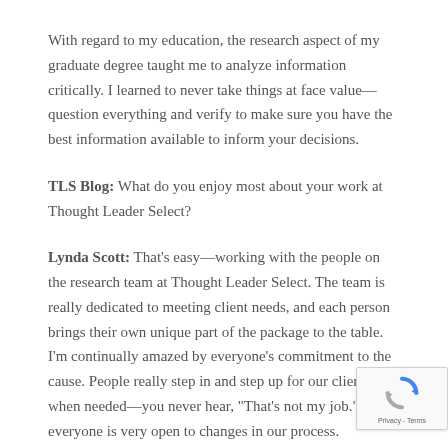With regard to my education, the research aspect of my graduate degree taught me to analyze information critically. I learned to never take things at face value—question everything and verify to make sure you have the best information available to inform your decisions.
TLS Blog: What do you enjoy most about your work at Thought Leader Select?
Lynda Scott: That's easy—working with the people on the research team at Thought Leader Select. The team is really dedicated to meeting client needs, and each person brings their own unique part of the package to the table. I'm continually amazed by everyone's commitment to the cause. People really step in and step up for our clients when needed—you never hear, "That's not my job." And everyone is very open to changes in our process.